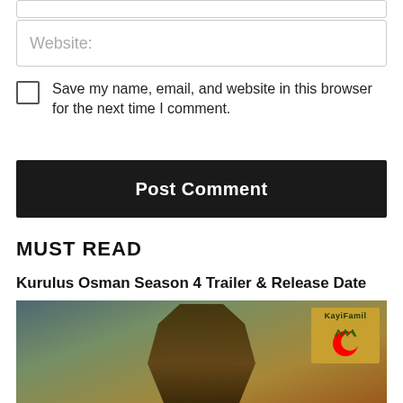Website:
Save my name, email, and website in this browser for the next time I comment.
Post Comment
MUST READ
Kurulus Osman Season 4 Trailer & Release Date
[Figure (photo): Promotional image for Kurulus Osman Season 4 showing a bearded warrior in the foreground with soldiers in the background and a KayiFamily logo in the top right corner]